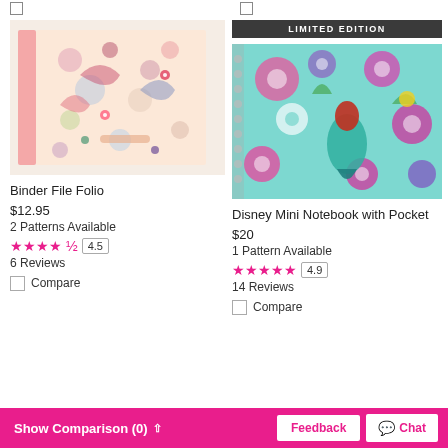[Figure (photo): Floral paisley patterned binder file folio product image]
[Figure (photo): Disney Little Mermaid Ariel themed spiral mini notebook with teal floral pattern, marked LIMITED EDITION]
Binder File Folio
$12.95
2 Patterns Available
4.5
6 Reviews
Compare
LIMITED EDITION
Disney Mini Notebook with Pocket
$20
1 Pattern Available
4.9
14 Reviews
Compare
Show Comparison (0)  Feedback  Chat